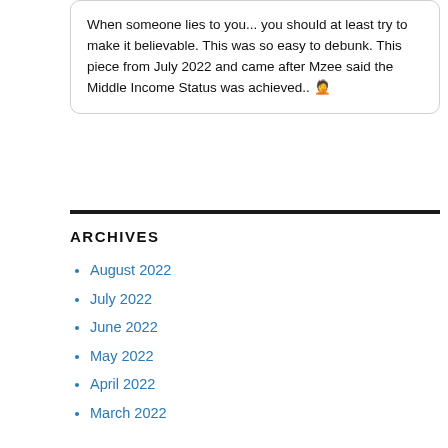When someone lies to you... you should at least try to make it believable. This was so easy to debunk. This piece from July 2022 and came after Mzee said the Middle Income Status was achieved.. 🤦
ARCHIVES
August 2022
July 2022
June 2022
May 2022
April 2022
March 2022